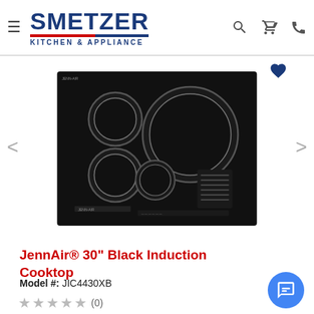SMETZER KITCHEN & APPLIANCE
[Figure (photo): Black induction cooktop with 4 burners arranged on a black glass surface with touch controls]
JennAir® 30" Black Induction Cooktop
Model #: JIC4430XB
★★★★★ (0)